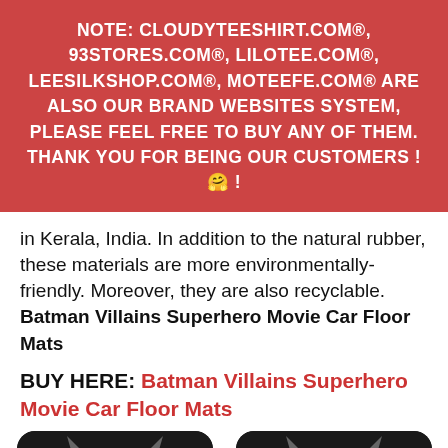NOTE: CLOUDYTEESHIRT.COM®, 93STORES.COM®, LILOTEE.COM®, LEESILKSHOP.COM®, MOTEEFE.COM® ARE ALSO OUR BRAND WEBSITES SYSTEM, PLEASE FEEL FREE TO BUY ANY OF THEM. THANK YOU FOR BEING OUR CUSTOMERS ! 🤗 !
in Kerala, India. In addition to the natural rubber, these materials are more environmentally-friendly. Moreover, they are also recyclable. Batman Villains Superhero Movie Car Floor Mats
BUY HERE: Batman Villains Superhero Movie Car Floor Mats
[Figure (photo): Two Batman Villains Superhero Movie Car Floor Mats shown side by side, featuring a stylized Batman mask with green 'HA HA' text on a black background]